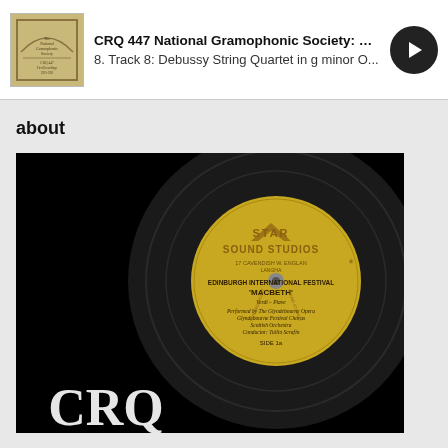[Figure (screenshot): Music player bar showing album thumbnail, track title 'CRQ 447 National Gramophonic Society: Firs...', subtitle '8. Track 8: Debussy String Quartet in g minor O...', and a circular play button]
about
[Figure (photo): Photograph of a vinyl record with a label reading 'Star Sound Studios, Edinburgh International Festival, MACBETH, Verdi - Piave, Performed by The Glyndebourne Opera, Glyndebourne Festival Chorus, Scottish Orchestra, Conductor: Tullio Serafin, SIDE 1a'. The text CRQ is visible at the bottom of the image.]